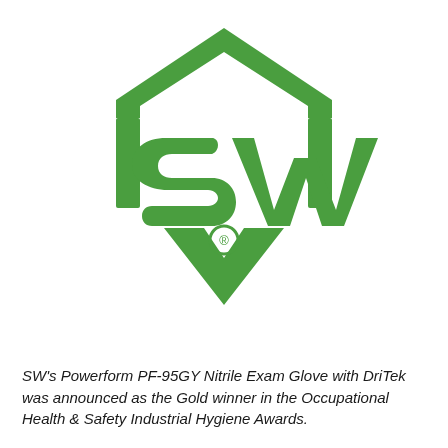[Figure (logo): SW shield logo in green, featuring large letters SW with a registered trademark symbol, inside a hexagonal shield shape with a chevron at the bottom]
SW's Powerform PF-95GY Nitrile Exam Glove with DriTek was announced as the Gold winner in the Occupational Health & Safety Industrial Hygiene Awards.